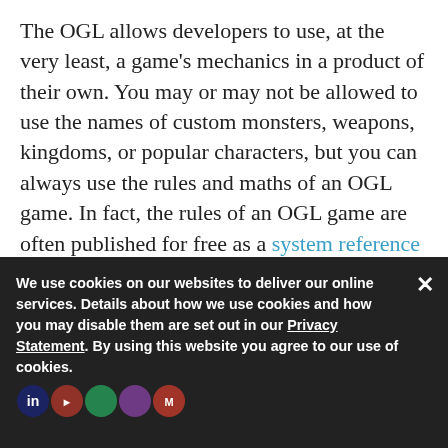The OGL allows developers to use, at the very least, a game's mechanics in a product of their own. You may or may not be allowed to use the names of custom monsters, weapons, kingdoms, or popular characters, but you can always use the rules and maths of an OGL game. In fact, the rules of an OGL game are often published for free as a system reference document (SRD) so, whether you purchase a copy of the rule book or not, you can learn how a game is played.
If you've never played a tabletop RPG before, it may seem strange that a game played with pen and paper has the rules to design, and computation is computation whether it's digital or engine dictates t
We use cookies on our websites to deliver our online services. Details about how we use cookies and how you may disable them are set out in our Privacy Statement. By using this website you agree to our use of cookies.